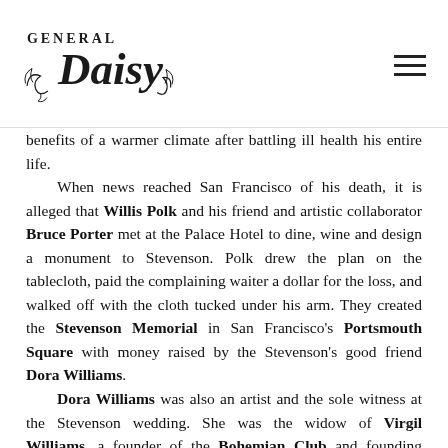General Daisy
benefits of a warmer climate after battling ill health his entire life.

When news reached San Francisco of his death, it is alleged that Willis Polk and his friend and artistic collaborator Bruce Porter met at the Palace Hotel to dine, wine and design a monument to Stevenson. Polk drew the plan on the tablecloth, paid the complaining waiter a dollar for the loss, and walked off with the cloth tucked under his arm. They created the Stevenson Memorial in San Francisco's Portsmouth Square with money raised by the Stevenson's good friend Dora Williams.

Dora Williams was also an artist and the sole witness at the Stevenson wedding. She was the widow of Virgil Williams, a founder of the Bohemian Club and founding president of the San Francisco Art